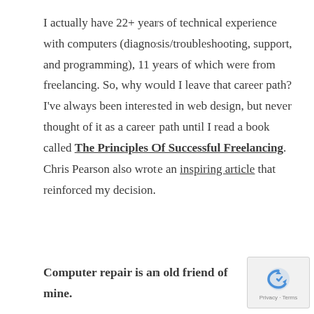I actually have 22+ years of technical experience with computers (diagnosis/troubleshooting, support, and programming), 11 years of which were from freelancing. So, why would I leave that career path? I've always been interested in web design, but never thought of it as a career path until I read a book called The Principles Of Successful Freelancing. Chris Pearson also wrote an inspiring article that reinforced my decision.
Computer repair is an old friend of mine.